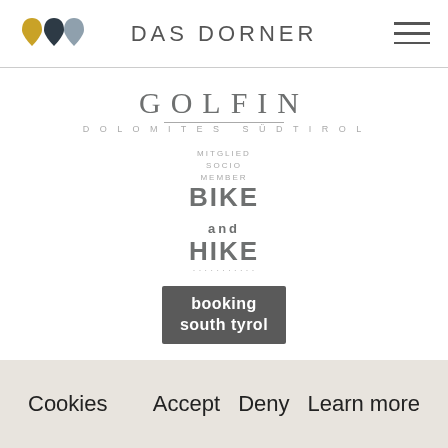DAS DORNER
[Figure (logo): GOLFIN DOLOMITES SÜDTIROL logo with decorative line]
[Figure (logo): MITGLIED SOCIO MEMBER BIKE AND HIKE logo]
[Figure (logo): booking south tyrol dark grey box logo]
Cookies  Accept  Deny  Learn more